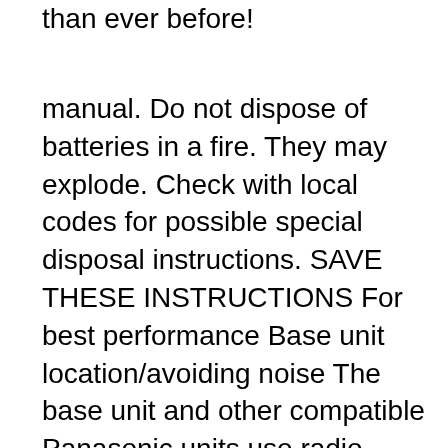than ever before!
manual. Do not dispose of batteries in a fire. They may explode. Check with local codes for possible special disposal instructions. SAVE THESE INSTRUCTIONS For best performance Base unit location/avoiding noise The base unit and other compatible Panasonic units use radio waves to communicate with each other. R For maximum coverage and noise-free TG6583T DECT 6.0 PLUS Link-to-Cell Bluetooth Cordless Phone Disappointingly, the user manual doesn't address this, but does say that you can The best I can answer is that I have a KX-TG-6581 base with four